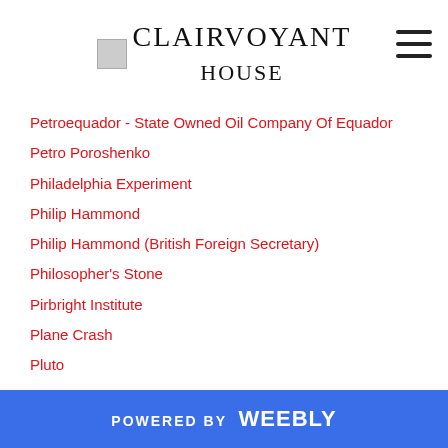CLAIRVOYANT HOUSE
Petroequador - State Owned Oil Company Of Equador
Petro Poroshenko
Philadelphia Experiment
Philip Hammond
Philip Hammond (British Foreign Secretary)
Philosopher's Stone
Pirbright Institute
Plane Crash
Pluto
Pope
Pope Francis
Present
Presidential Campaign
Presidential Council Of Libya
Presidential Election 2020
POWERED BY weebly